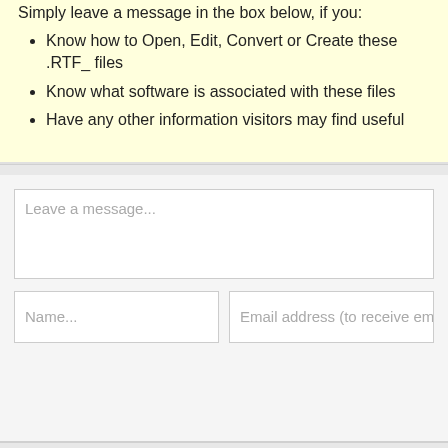Simply leave a message in the box below, if you:
Know how to Open, Edit, Convert or Create these .RTF_ files
Know what software is associated with these files
Have any other information visitors may find useful
[Figure (screenshot): Web form with textarea placeholder 'Leave a message...' and two input fields for Name and Email address]
Privacy | Terms & Conditions | Contact Us
All content and images copyright © 2005-2022 dotwh... All Rights Reserved.